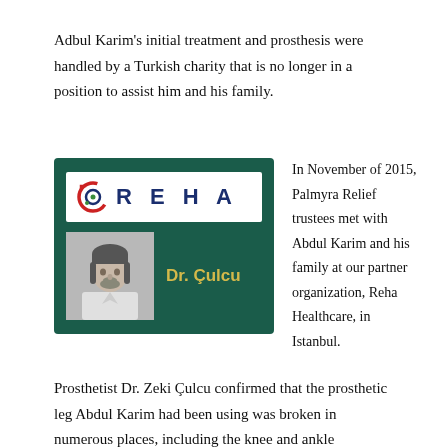Adbul Karim's initial treatment and prosthesis were handled by a Turkish charity that is no longer in a position to assist him and his family.
[Figure (photo): REHA Healthcare card featuring the REHA logo (stylized circular icon with the text REHA in blue letters) on a white background, and below it a black-and-white photo of Dr. Çulcu beside the text 'Dr. Çulcu' in gold/yellow, all on a dark teal/green background.]
In November of 2015, Palmyra Relief trustees met with Abdul Karim and his family at our partner organization, Reha Healthcare, in Istanbul.
Prosthetist Dr. Zeki Çulcu confirmed that the prosthetic leg Abdul Karim had been using was broken in numerous places, including the knee and ankle mechanisms. Dr Çulcu recommended at minimum